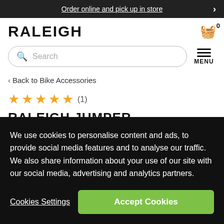Order online and pick up in store
RALEIGH
Search
< Back to Bike Accessories
★★★★★ (1)
RALEIGH JUMPER
We use cookies to personalise content and ads, to provide social media features and to analyse our traffic. We also share information about your use of our site with our social media, advertising and analytics partners.
Cookies Settings
Accept Cookies